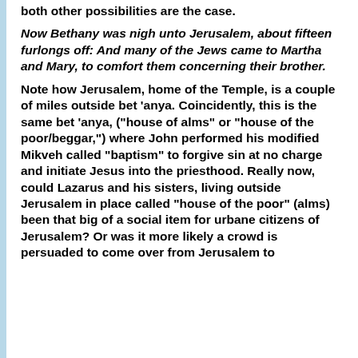both other possibilities are the case.
Now Bethany was nigh unto Jerusalem, about fifteen furlongs off: And many of the Jews came to Martha and Mary, to comfort them concerning their brother.
Note how Jerusalem, home of the Temple, is a couple of miles outside bet ‘anya. Coincidently, this is the same bet ‘anya, (“house of alms” or “house of the poor/beggar,”) where John performed his modified Mikveh called “baptism” to forgive sin at no charge and initiate Jesus into the priesthood. Really now, could Lazarus and his sisters, living outside Jerusalem in place called “house of the poor” (alms) been that big of a social item for urbane citizens of Jerusalem? Or was it more likely a crowd is persuaded to come over from Jerusalem to